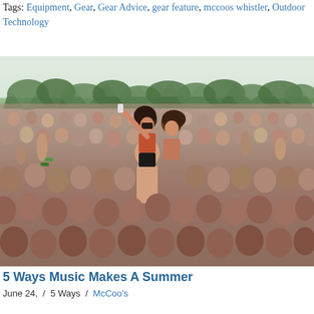Tags: Equipment, Gear, Gear Advice, gear feature, mccoos whistler, Outdoor Technology
[Figure (photo): A large crowd at an outdoor music festival. Two young women are visible above the crowd, one sitting on someone's shoulders taking a selfie with her arm raised. Lush green trees are visible in the background against a pale sky.]
5 Ways Music Makes A Summer
June 24, / 5 Ways / McCoo's